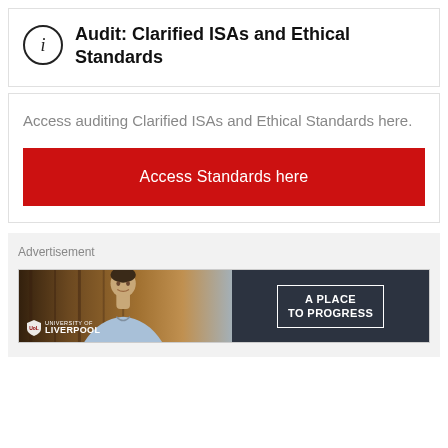Audit: Clarified ISAs and Ethical Standards
Access auditing Clarified ISAs and Ethical Standards here.
Access Standards here
Advertisement
[Figure (photo): University of Liverpool advertisement banner showing a smiling man against a wooden background with the text 'A PLACE TO PROGRESS' in a white-bordered box on a dark background.]